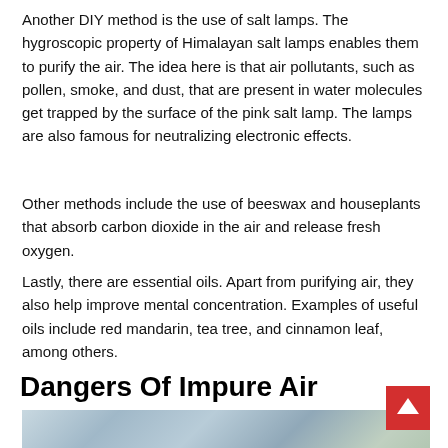Another DIY method is the use of salt lamps. The hygroscopic property of Himalayan salt lamps enables them to purify the air. The idea here is that air pollutants, such as pollen, smoke, and dust, that are present in water molecules get trapped by the surface of the pink salt lamp. The lamps are also famous for neutralizing electronic effects.
Other methods include the use of beeswax and houseplants that absorb carbon dioxide in the air and release fresh oxygen.
Lastly, there are essential oils. Apart from purifying air, they also help improve mental concentration. Examples of useful oils include red mandarin, tea tree, and cinnamon leaf, among others.
Dangers Of Impure Air
[Figure (photo): Partially visible photo at the bottom of the page, appears to show an indoor scene with blurred background.]